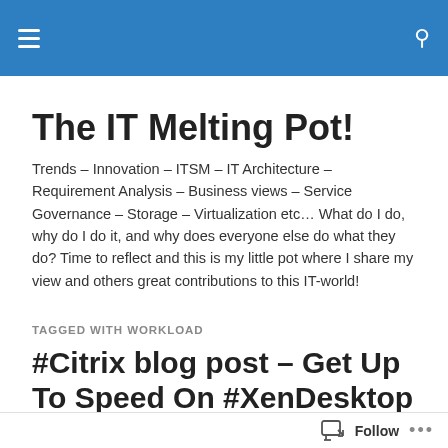The IT Melting Pot! [navigation header with hamburger menu and search icon]
The IT Melting Pot!
Trends – Innovation – ITSM – IT Architecture – Requirement Analysis – Business views – Service Governance – Storage – Virtualization etc… What do I do, why do I do it, and why does everyone else do what they do? Time to reflect and this is my little pot where I share my view and others great contributions to this IT-world!
TAGGED WITH WORKLOAD
#Citrix blog post – Get Up To Speed On #XenDesktop Bandwidth Requirements